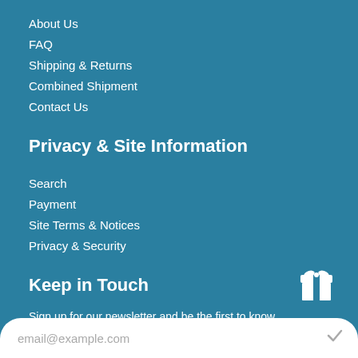About Us
FAQ
Shipping & Returns
Combined Shipment
Contact Us
Privacy & Site Information
Search
Payment
Site Terms & Notices
Privacy & Security
Keep in Touch
Sign up for our newsletter and be the first to know about coupons and special promotions.
[Figure (illustration): White gift box icon]
email@example.com